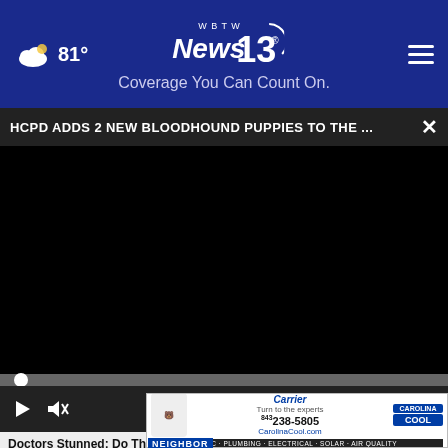81° | WBTW News 13 | Coverage You Can Count On.
HCPD ADDS 2 NEW BLOODHOUND PUPPIES TO THE ...
[Figure (screenshot): Black video player area with playback controls: play button, mute button, 00:00 timestamp, CC button, fullscreen button, and a progress bar.]
Doctors Stunned: Do This Every Evening & Lose
You
Weigh
[Figure (other): Carolina Cool HVAC advertisement banner with Carrier logo, phone number 843-238-5805, CarolinaCool.com, and services: HVAC · PLUMBING · ELECTRICAL · SOLAR · AIR QUALITY]